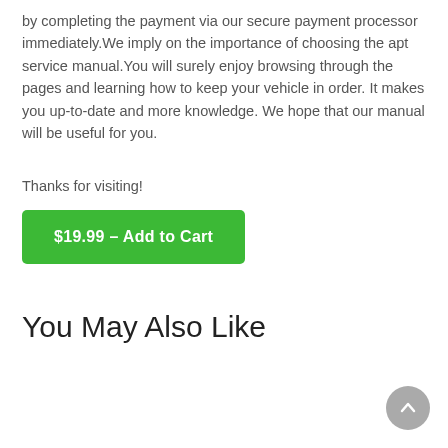by completing the payment via our secure payment processor immediately.We imply on the importance of choosing the apt service manual.You will surely enjoy browsing through the pages and learning how to keep your vehicle in order. It makes you up-to-date and more knowledge. We hope that our manual will be useful for you.
Thanks for visiting!
$19.99 – Add to Cart
You May Also Like